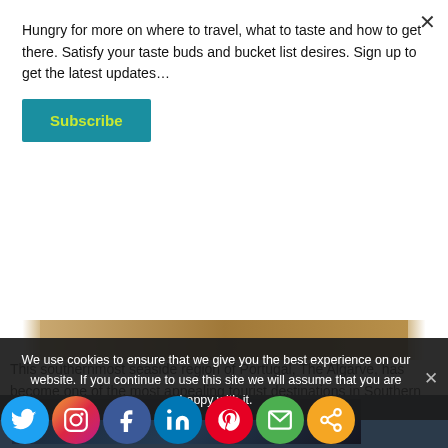Hungry for more on where to travel, what to taste and how to get there. Satisfy your taste buds and bucket list desires. Sign up to get the latest updates…
Subscribe
[Figure (photo): Partial image strip showing sandy/wooden textured surface, cropped]
This southernmost seaside region of Portugal, The Algarve, has become one of the most appealing tourist destinations in Southern Europe particularly with central and northern Europeans. With such easy access from Portugal's neighboring countries to the north, it is quite convenient and affordable to visit numerous times during the year. Visitors flock to the busy beaches in the warm busy summer months and then return again in the quieter winter season as a place to escape the
We use cookies to ensure that we give you the best experience on our website. If you continue to use this site we will assume that you are happy with it.
[Figure (photo): Dark coastal/nighttime scene with social sharing icons row at bottom including Twitter, Instagram, Facebook, LinkedIn, Pinterest, Email, Share]